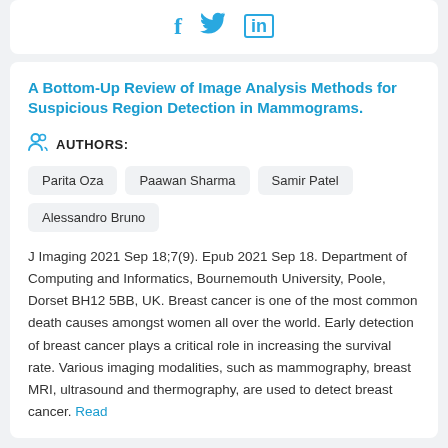[Figure (other): Social media share icons: Facebook (f), Twitter (bird), LinkedIn (in) in blue]
A Bottom-Up Review of Image Analysis Methods for Suspicious Region Detection in Mammograms.
AUTHORS:
Parita Oza
Paawan Sharma
Samir Patel
Alessandro Bruno
J Imaging 2021 Sep 18;7(9). Epub 2021 Sep 18. Department of Computing and Informatics, Bournemouth University, Poole, Dorset BH12 5BB, UK. Breast cancer is one of the most common death causes amongst women all over the world. Early detection of breast cancer plays a critical role in increasing the survival rate. Various imaging modalities, such as mammography, breast MRI, ultrasound and thermography, are used to detect breast cancer. Read